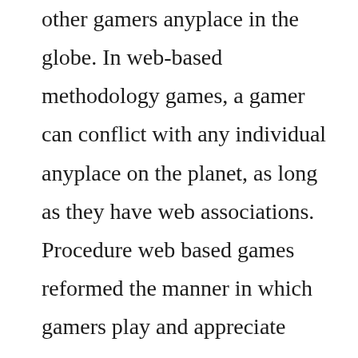other gamers anyplace in the globe. In web-based methodology games, a gamer can conflict with any individual anyplace on the planet, as long as they have web associations. Procedure web based games reformed the manner in which gamers play and appreciate computer games. Not exclusively would they be able to fulfill their fantasy about being in the game world, they can likewise talk and meet other gamers with a similar inclination and interest as them. Here are some of online methodology games which got change the